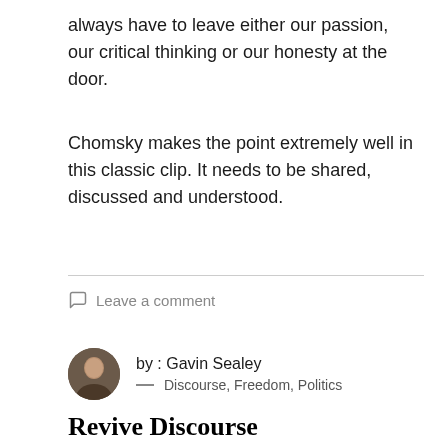always have to leave either our passion, our critical thinking or our honesty at the door.
Chomsky makes the point extremely well in this classic clip. It needs to be shared, discussed and understood.
Leave a comment
by : Gavin Sealey — Discourse, Freedom, Politics
Revive Discourse